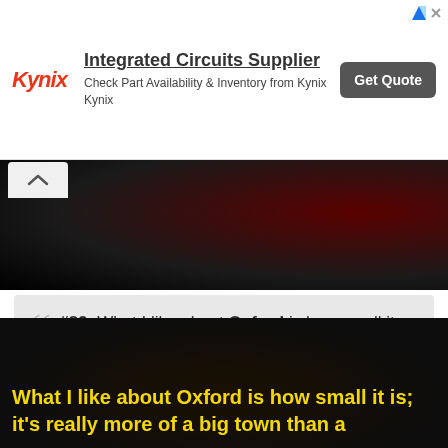[Figure (screenshot): Kynix Integrated Circuits Supplier advertisement banner with logo, description, and Get Quote button]
[Figure (photo): Dark photo strip showing a dark interior scene with reddish glow]
#89. What I like about Oxford is how small it is; it's really more of a big town than a city. - Author: Samantha Shannon
[Figure (screenshot): Dark video frame with yellow subtitle text: What I like about Oxford is how small it is; it's really more of a big town than a]